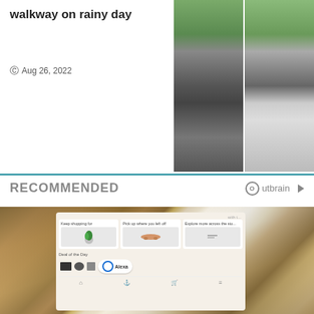walkway on rainy day
Aug 26, 2022
[Figure (photo): Two photos side by side showing people walking near a car on a rainy day]
RECOMMENDED
[Figure (logo): Outbrain logo with play arrow]
[Figure (screenshot): Amazon shopping app screenshot showing Keep shopping for, Pick up where you left off, Explore more across the store sections with product images, Deal of the Day, and Alexa button]